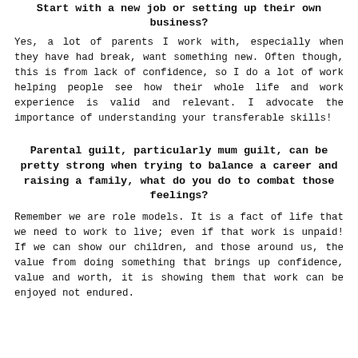Start with a new job or setting up their own business?
Yes, a lot of parents I work with, especially when they have had break, want something new. Often though, this is from lack of confidence, so I do a lot of work helping people see how their whole life and work experience is valid and relevant. I advocate the importance of understanding your transferable skills!
Parental guilt, particularly mum guilt, can be pretty strong when trying to balance a career and raising a family, what do you do to combat those feelings?
Remember we are role models. It is a fact of life that we need to work to live; even if that work is unpaid! If we can show our children, and those around us, the value from doing something that brings up confidence, value and worth, it is showing them that work can be enjoyed not endured.